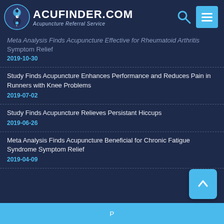ACUFINDER.COM Acupuncture Referral Service
Meta Analysis Finds Acupuncture Effective for Rheumatoid Arthritis Symptom Relief
2019-10-30
Study Finds Acupuncture Enhances Performance and Reduces Pain in Runners with Knee Problems
2019-07-02
Study Finds Acupuncture Relieves Persistant Hiccups
2019-06-26
Meta Analysis Finds Acupuncture Beneficial for Chronic Fatigue Syndrome Symptom Relief
2019-04-09